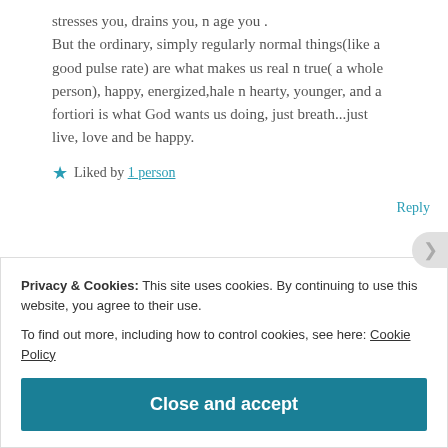stresses you, drains you, n age you . But the ordinary, simply regularly normal things(like a good pulse rate) are what makes us real n true( a whole person), happy, energized,hale n hearty, younger, and a fortiori is what God wants us doing, just breath...just live, love and be happy.
Liked by 1 person
Reply
Privacy & Cookies: This site uses cookies. By continuing to use this website, you agree to their use. To find out more, including how to control cookies, see here: Cookie Policy
Close and accept